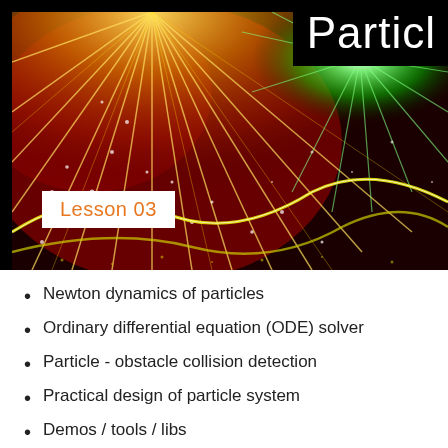[Figure (illustration): Fireworks / particle effects illustration with golden light rays and green sparks on a dark red/black background]
Particle
Lesson 03
Newton dynamics of particles
Ordinary differential equation (ODE) solver
Particle - obstacle collision detection
Practical design of particle system
Demos / tools / libs